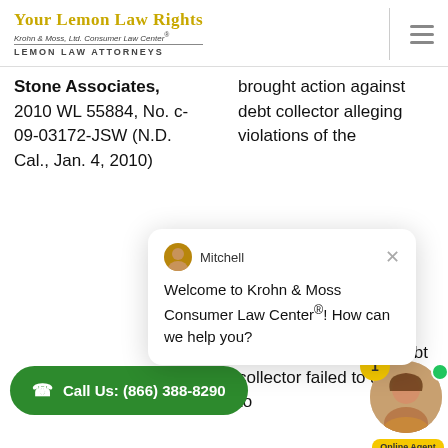Your Lemon Law Rights — Krohn & Moss, Ltd. Consumer Law Center® — Lemon Law Attorneys
Stone Associates, 2010 WL 55884, No. c-09-03172-JSW (N.D. Cal., Jan. 4, 2010)
brought action against debt collector alleging violations of the
[Figure (screenshot): Chat popup from Mitchell agent saying: Welcome to Krohn & Moss Consumer Law Center®! How can we help you?]
Collection Practices Debt collector failed to answer to
Call Us: (866) 388-8290
[Figure (photo): Online agent photo with yellow notification badge showing 1, green online dot, and Online Agent label]